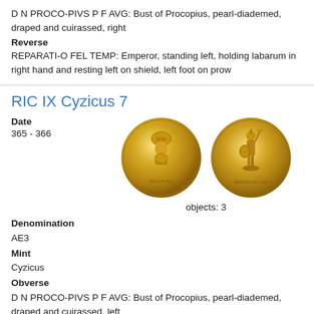D N PROCO-PIVS P F AVG: Bust of Procopius, pearl-diademed, draped and cuirassed, right
Reverse
REPARATI-O FEL TEMP: Emperor, standing left, holding labarum in right hand and resting left on shield, left foot on prow
RIC IX Cyzicus 7
Date
365 - 366
[Figure (photo): Two gold ancient Roman coins side by side. Left coin shows obverse with bust facing right. Right coin shows reverse with standing emperor figure.]
objects: 3
Denomination
AE3
Mint
Cyzicus
Obverse
D N PROCO-PIVS P F AVG: Bust of Procopius, pearl-diademed, draped and cuirassed, left